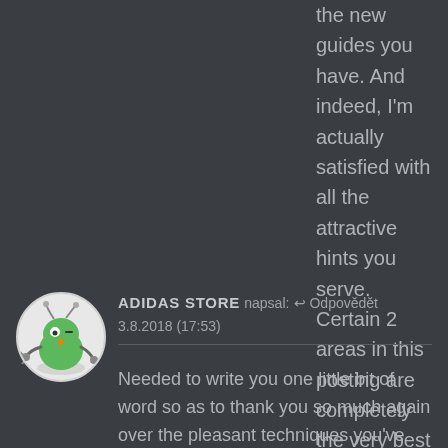the new guides you have. And indeed, I'm actually satisfied with all the attractive hints you serve. Certain 2 areas in this posting are completely the very best we have all had.
[Figure (illustration): Circular avatar image of a cartoon alien green creature with antennae and mechanical arms on a light background]
ADIDAS STORE napsal: Odpovědět 3.8.2018 (17:53)
Needed to write you one little bit of word so as to thank you so much again over the pleasant techniques you've provided in this article. This has been really tremendously generous of you to supply unreservedly precisely what a lot of people could have